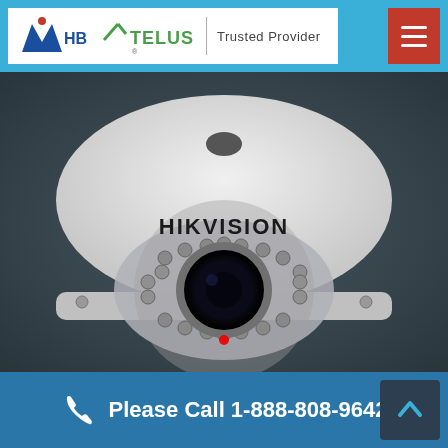[Figure (logo): MHB and TELUS Trusted Provider logos in white header bar with blue navigation background and red hamburger menu button]
[Figure (photo): Hikvision dome security camera with IR LEDs visible, white housing, dark background]
Please Call 1-888-808-9642